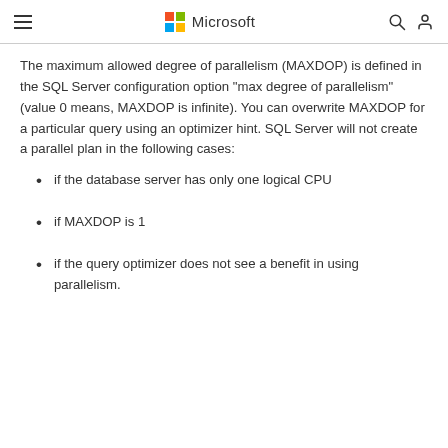Microsoft
The maximum allowed degree of parallelism (MAXDOP) is defined in the SQL Server configuration option "max degree of parallelism" (value 0 means, MAXDOP is infinite). You can overwrite MAXDOP for a particular query using an optimizer hint. SQL Server will not create a parallel plan in the following cases:
if the database server has only one logical CPU
if MAXDOP is 1
if the query optimizer does not see a benefit in using parallelism.